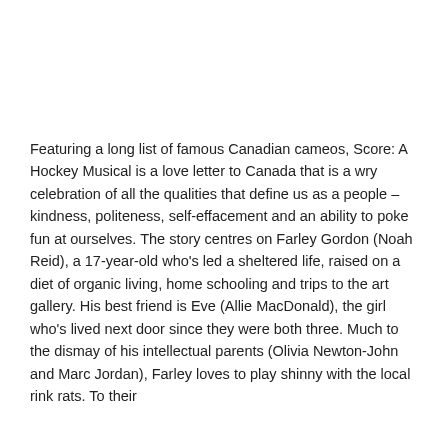Featuring a long list of famous Canadian cameos, Score: A Hockey Musical is a love letter to Canada that is a wry celebration of all the qualities that define us as a people – kindness, politeness, self-effacement and an ability to poke fun at ourselves. The story centres on Farley Gordon (Noah Reid), a 17-year-old who's led a sheltered life, raised on a diet of organic living, home schooling and trips to the art gallery. His best friend is Eve (Allie MacDonald), the girl who's lived next door since they were both three. Much to the dismay of his intellectual parents (Olivia Newton-John and Marc Jordan), Farley loves to play shinny with the local rink rats. To their